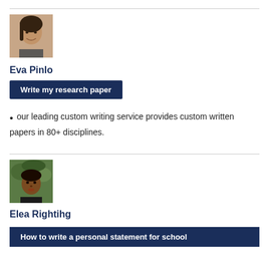[Figure (photo): Photo of Eva Pinlo, a woman smiling]
Eva Pinlo
Write my research paper
our leading custom writing service provides custom written papers in 80+ disciplines.
[Figure (photo): Photo of Elea Rightihg, a woman looking at camera]
Elea Rightihg
How to write a personal statement for school